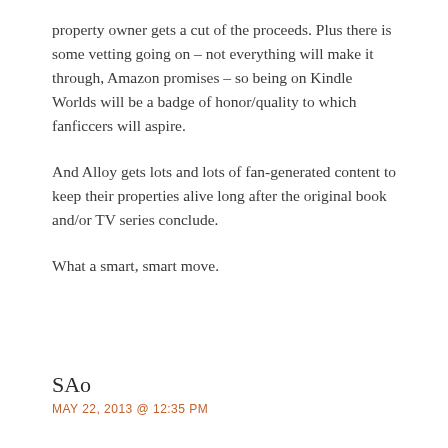property owner gets a cut of the proceeds. Plus there is some vetting going on – not everything will make it through, Amazon promises – so being on Kindle Worlds will be a badge of honor/quality to which fanficcers will aspire.
And Alloy gets lots and lots of fan-generated content to keep their properties alive long after the original book and/or TV series conclude.
What a smart, smart move.
SAo
MAY 22, 2013 @ 12:35 PM